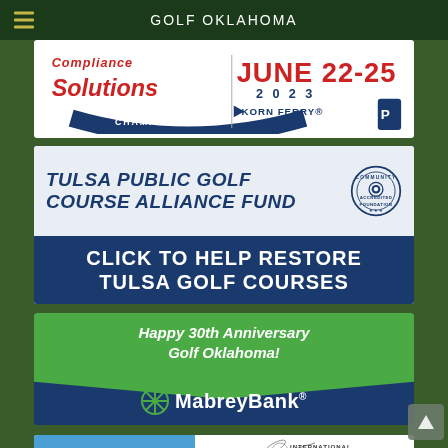GOLF OKLAHOMA
[Figure (illustration): Compliance Solutions Championship June 22-25 2023 Korn Ferry Tour advertisement banner]
[Figure (illustration): Tulsa Public Golf Course Alliance Fund - Click to Help Restore Tulsa Golf Courses advertisement with Community Accredited Foundation seal]
[Figure (illustration): Happy 30th Anniversary Golf Oklahoma - Mabrey Bank advertisement with green ribbon banner]
[Figure (illustration): Golf Oklahoma - International ING advertisement partial banner]